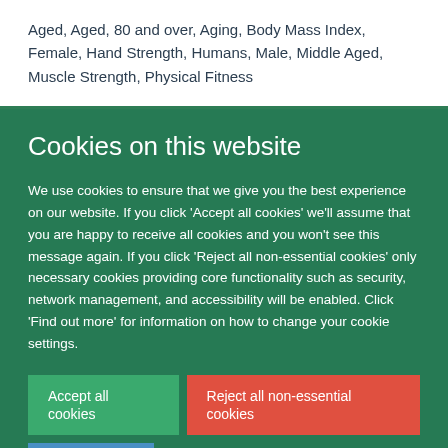Aged, Aged, 80 and over, Aging, Body Mass Index, Female, Hand Strength, Humans, Male, Middle Aged, Muscle Strength, Physical Fitness
Cookies on this website
We use cookies to ensure that we give you the best experience on our website. If you click 'Accept all cookies' we'll assume that you are happy to receive all cookies and you won't see this message again. If you click 'Reject all non-essential cookies' only necessary cookies providing core functionality such as security, network management, and accessibility will be enabled. Click 'Find out more' for information on how to change your cookie settings.